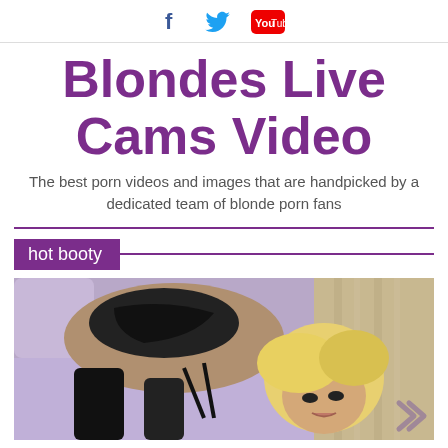Facebook Twitter YouTube
Blondes Live Cams Video
The best porn videos and images that are handpicked by a dedicated team of blonde porn fans
hot booty
[Figure (photo): Blonde woman in black lingerie posing on a bed with purple/lavender bedding, facing toward the camera]